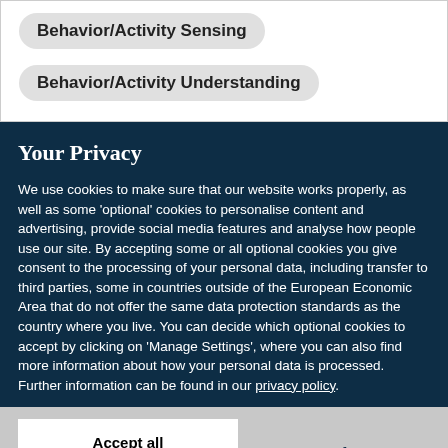Behavior/Activity Sensing
Behavior/Activity Understanding
Your Privacy
We use cookies to make sure that our website works properly, as well as some 'optional' cookies to personalise content and advertising, provide social media features and analyse how people use our site. By accepting some or all optional cookies you give consent to the processing of your personal data, including transfer to third parties, some in countries outside of the European Economic Area that do not offer the same data protection standards as the country where you live. You can decide which optional cookies to accept by clicking on 'Manage Settings', where you can also find more information about how your personal data is processed. Further information can be found in our privacy policy.
Accept all cookies
Manage preferences